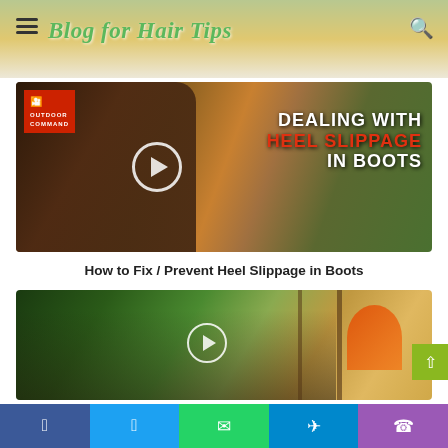Blog for Hair Tips
[Figure (screenshot): Video thumbnail for 'Dealing With Heel Slippage In Boots' from Outdoor Command channel, showing a hiking boot stepping on autumn leaves, with play button overlay and bold text overlay reading 'DEALING WITH HEEL SLIPPAGE IN BOOTS']
How to Fix / Prevent Heel Slippage in Boots
[Figure (photo): Video thumbnail showing a group of people smiling outdoors in a forest setting with an orange tent, play button overlay visible]
Social share buttons: Facebook, Twitter, WhatsApp, Telegram, Phone